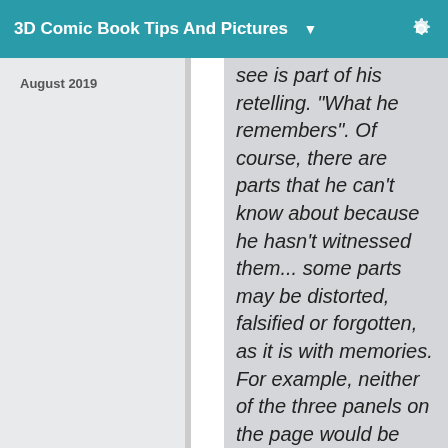3D Comic Book Tips And Pictures ▼
August 2019
see is part of his retelling. "What he remembers". Of course, there are parts that he can't know about because he hasn't witnessed them... some parts may be distorted, falsified or forgotten, as it is with memories. For example, neither of the three panels on the page would be things that the narrator character would have known first hand. He knows what Simon messaged his younger brother, and what the